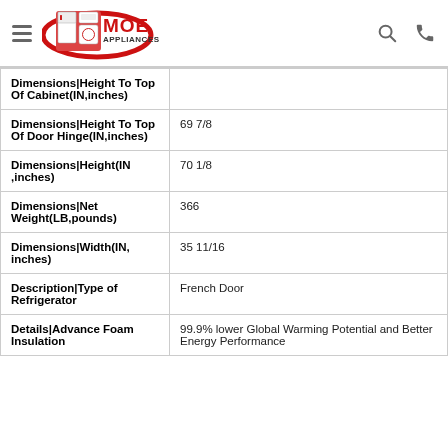MOE Appliances
| Attribute | Value |
| --- | --- |
| Dimensions|Height To Top Of Cabinet(IN,inches) |  |
| Dimensions|Height To Top Of Door Hinge(IN,inches) | 69 7/8 |
| Dimensions|Height(IN,inches) | 70 1/8 |
| Dimensions|Net Weight(LB,pounds) | 366 |
| Dimensions|Width(IN,inches) | 35 11/16 |
| Description|Type of Refrigerator | French Door |
| Details|Advance Foam Insulation | 99.9% lower Global Warming Potential and Better Energy Performance |